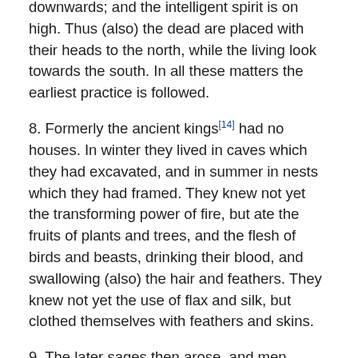downwards; and the intelligent spirit is on high. Thus (also) the dead are placed with their heads to the north, while the living look towards the south. In all these matters the earliest practice is followed.
8. Formerly the ancient kings[14] had no houses. In winter they lived in caves which they had excavated, and in summer in nests which they had framed. They knew not yet the transforming power of fire, but ate the fruits of plants and trees, and the flesh of birds and beasts, drinking their blood, and swallowing (also) the hair and feathers. They knew not yet the use of flax and silk, but clothed themselves with feathers and skins.
9. The later sages then arose, and men (learned) to take advantage of the benefits of fire. They moulded the metals and fashioned clay, so as to rear towers with structures on them, and houses with windows and doors. They toasted